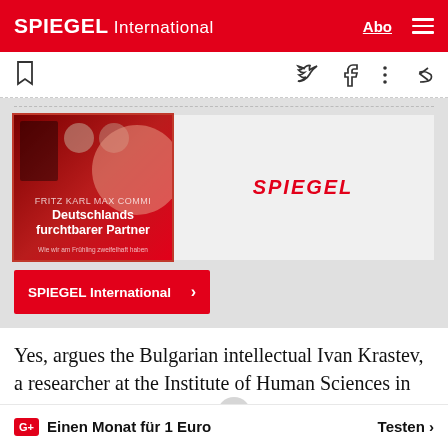SPIEGEL International
[Figure (screenshot): Spiegel book promo card showing 'Deutschlands furchtbarer Partner' with a red cover image and a 'SPIEGEL International >' button]
Yes, argues the Bulgarian intellectual Ivan Krastev, a researcher at the Institute of Human Sciences in Vienna and one of the le… political thinkers of our
G+ Einen Monat für 1 Euro   Testen >